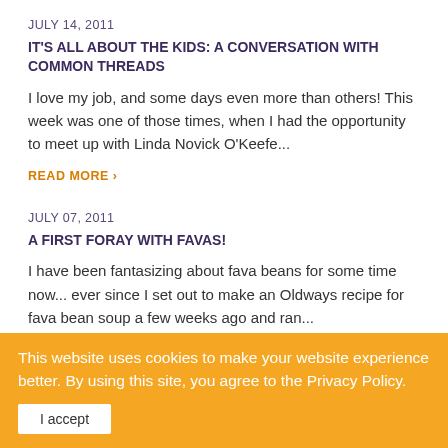JULY 14, 2011
IT'S ALL ABOUT THE KIDS: A CONVERSATION WITH COMMON THREADS
I love my job, and some days even more than others! This week was one of those times, when I had the opportunity to meet up with Linda Novick O'Keefe...
READ MORE ›
JULY 07, 2011
A FIRST FORAY WITH FAVAS!
I have been fantasizing about fava beans for some time now... ever since I set out to make an Oldways recipe for fava bean soup a few weeks ago and ran...
READ MORE ›
This website uses cookies to make your website experience better. By using this site, you agree to the Privacy Policy.